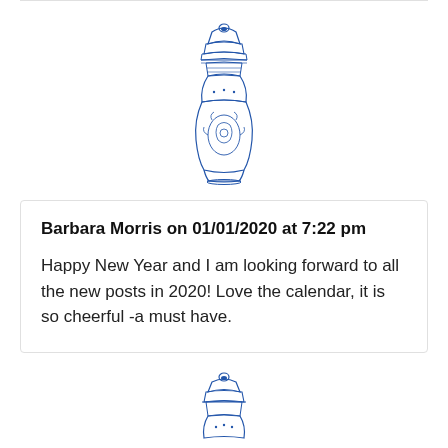[Figure (illustration): Blue and white decorative Chinese ginger jar vase illustration (top, partial)]
Barbara Morris on 01/01/2020 at 7:22 pm

Happy New Year and I am looking forward to all the new posts in 2020! Love the calendar, it is so cheerful -a must have.
[Figure (illustration): Blue and white decorative Chinese ginger jar vase illustration (bottom, partial)]